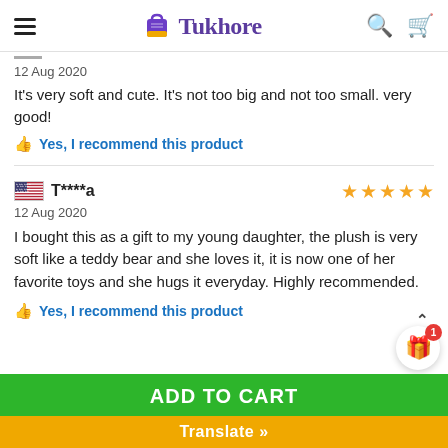Tukhore — navigation bar with hamburger menu, logo, search and cart icons
12 Aug 2020
It's very soft and cute. It's not too big and not too small. very good!
Yes, I recommend this product
T****a — 12 Aug 2020 — 5 stars
I bought this as a gift to my young daughter, the plush is very soft like a teddy bear and she loves it, it is now one of her favorite toys and she hugs it everyday. Highly recommended.
Yes, I recommend this product
TOP
ADD TO CART
Translate »